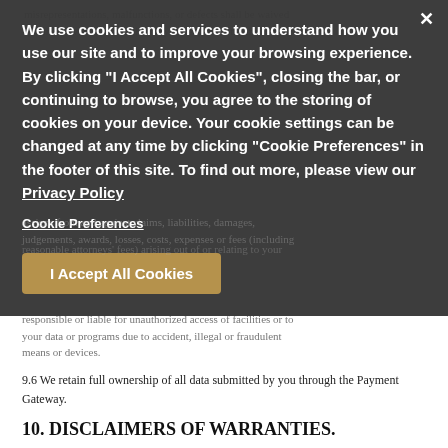misrepresentations, malfunctions, or defects shall be waived and in no event shall our liability exceed the total amount in [obscured] to defend, [obscured] and [obscured] assigns from and against claims, liabilities, damages, judgements, awards, losses, costs, expenses or fees (including reasonable attorneys' fees) arising out of or relating to your [obscured] contemplated under this Agreement, [obscured] you or any other party. We will not be responsible or liable for unauthorized access of facilities or to your data or programs due to accident, illegal or fraudulent means or devices.
[Figure (screenshot): Cookie consent overlay modal with dark semi-transparent background. Contains bold white text about cookie usage policy, a Privacy Policy link, a Cookie Preferences link, and an 'I Accept All Cookies' button in tan/gold color. An X close button is in the top right corner.]
9.6 We retain full ownership of all data submitted by you through the Payment Gateway.
10. DISCLAIMERS OF WARRANTIES.